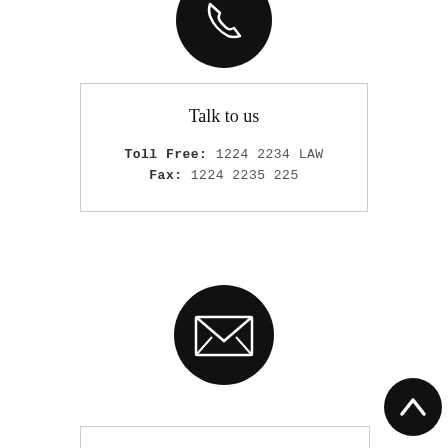[Figure (illustration): Black circle with white phone/handset icon, partially cropped at top of page]
Talk to us
Toll Free: 1224 2234 LAW
Fax: 1224 2235 225
[Figure (illustration): Black circle with white envelope/mail icon]
[Figure (illustration): Black circle with white upward chevron/arrow icon, bottom right corner]